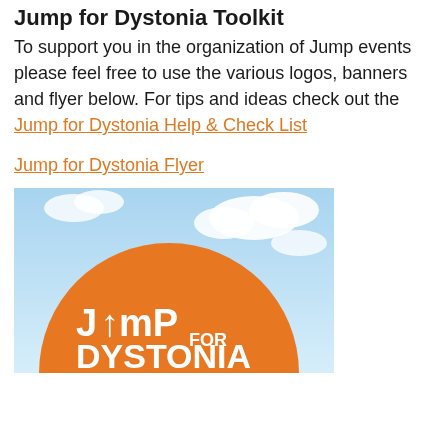Jump for Dystonia Toolkit
To support you in the organization of Jump events please feel free to use the various logos, banners and flyer below. For tips and ideas check out the Jump for Dystonia Help & Check List
Jump for Dystonia Flyer
[Figure (illustration): Jump for Dystonia flyer image showing an orange circular logo with white text 'JUMP FOR DYSTONIA' against a blue sky with clouds background]